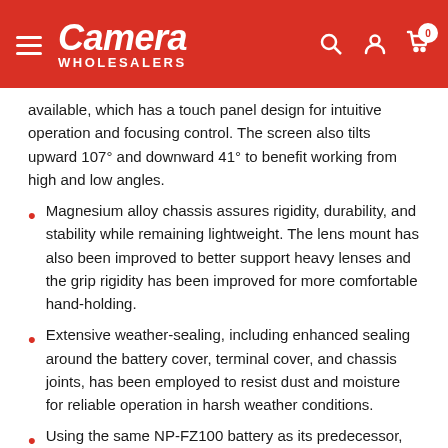Camera Wholesalers
available, which has a touch panel design for intuitive operation and focusing control. The screen also tilts upward 107° and downward 41° to benefit working from high and low angles.
Magnesium alloy chassis assures rigidity, durability, and stability while remaining lightweight. The lens mount has also been improved to better support heavy lenses and the grip rigidity has been improved for more comfortable hand-holding.
Extensive weather-sealing, including enhanced sealing around the battery cover, terminal cover, and chassis joints, has been employed to resist dust and moisture for reliable operation in harsh weather conditions.
Using the same NP-FZ100 battery as its predecessor, the